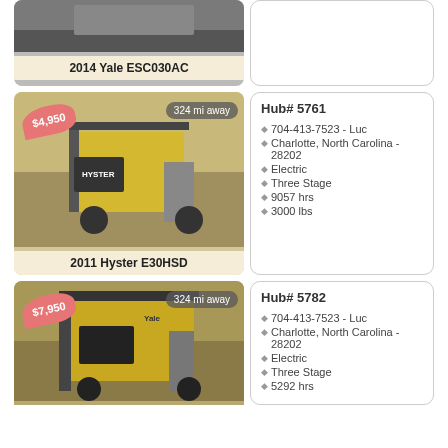[Figure (photo): 2014 Yale ESC030AC forklift, partial view at top of page]
2014 Yale ESC030AC
[Figure (photo): 2011 Hyster E30HSD yellow electric forklift, $4,950, 324 mi away]
2011 Hyster E30HSD
Hub# 5761
704-413-7523 - Luc
Charlotte, North Carolina - 28202
Electric
Three Stage
9057 hrs
3000 lbs
[Figure (photo): Yale electric forklift, $7,950, 324 mi away]
Hub# 5782
704-413-7523 - Luc
Charlotte, North Carolina - 28202
Electric
Three Stage
5292 hrs